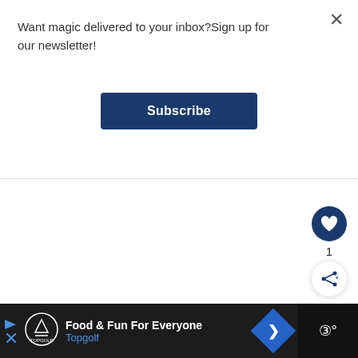×
Want magic delivered to your inbox?Sign up for our newsletter!
Subscribe
[Figure (illustration): Heart (favorite) icon button in dark navy circle, number 1 below, and a share icon button below that]
[Figure (illustration): Advertisement bar: Topgolf logo, Food & Fun For Everyone, Topgolf text, navigation arrow icon, and a dark right panel with Widespace logo]